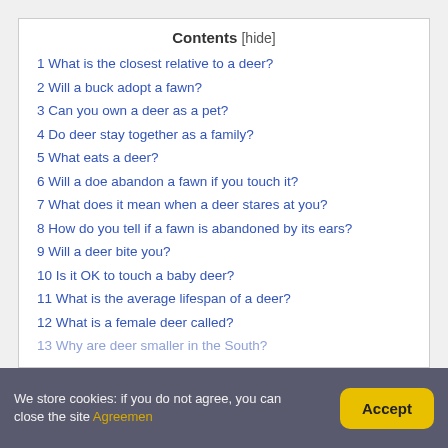Contents [hide]
1 What is the closest relative to a deer?
2 Will a buck adopt a fawn?
3 Can you own a deer as a pet?
4 Do deer stay together as a family?
5 What eats a deer?
6 Will a doe abandon a fawn if you touch it?
7 What does it mean when a deer stares at you?
8 How do you tell if a fawn is abandoned by its ears?
9 Will a deer bite you?
10 Is it OK to touch a baby deer?
11 What is the average lifespan of a deer?
12 What is a female deer called?
13 Why are deer smaller in the South?
We store cookies: if you do not agree, you can close the site Agreemen